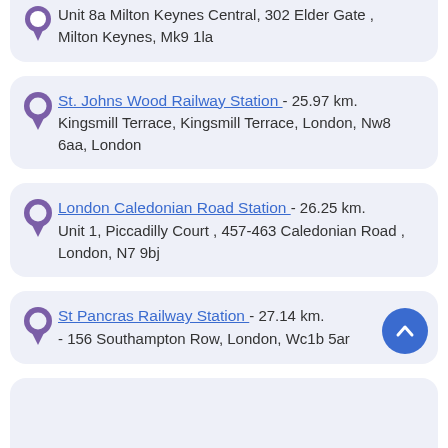Unit 8a Milton Keynes Central, 302 Elder Gate , Milton Keynes, Mk9 1la
St. Johns Wood Railway Station - 25.97 km. Kingsmill Terrace, Kingsmill Terrace, London, Nw8 6aa, London
London Caledonian Road Station - 26.25 km. Unit 1, Piccadilly Court , 457-463 Caledonian Road , London, N7 9bj
St Pancras Railway Station - 27.14 km. - 156 Southampton Row, London, Wc1b 5ar